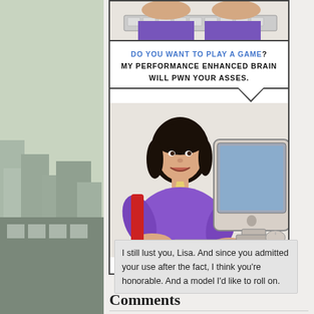[Figure (illustration): Comic strip page showing a woman in a purple suit at a computer. Top panel shows hands typing on a keyboard. Middle panel has a speech bubble saying 'DO YOU WANT TO PLAY A GAME? MY PERFORMANCE ENHANCED BRAIN WILL PWN YOUR ASSES.' Bottom panel shows an Asian woman smiling at a computer monitor with keyboard.]
Dec 18, 2007| Permalink
Comments
I still lust you, Lisa. And since you admitted your use after the fact, I think you're honorable. And a model I'd like to roll on.